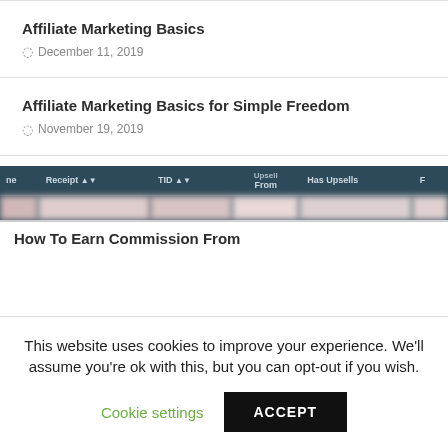Affiliate Marketing Basics
December 11, 2019
Affiliate Marketing Basics for Simple Freedom
November 19, 2019
[Figure (screenshot): Screenshot of a table with columns: Receipt, TID, Upsell From, Has Upsells, and a partially visible column. Rows contain blurred data. Below the table header is a partial article title: How To Earn Commission From]
This website uses cookies to improve your experience. We'll assume you're ok with this, but you can opt-out if you wish.
Cookie settings
ACCEPT